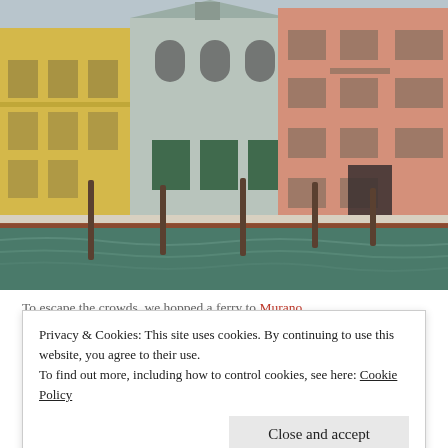[Figure (photo): Colorful buildings along a Venetian canal — yellow, light blue/grey, and salmon/pink facade buildings reflected in green canal water, with wooden mooring poles in the water and a brick quayside.]
To escape the crowds, we hopped a ferry to Murano
Privacy & Cookies: This site uses cookies. By continuing to use this website, you agree to their use.
To find out more, including how to control cookies, see here: Cookie Policy
Close and accept